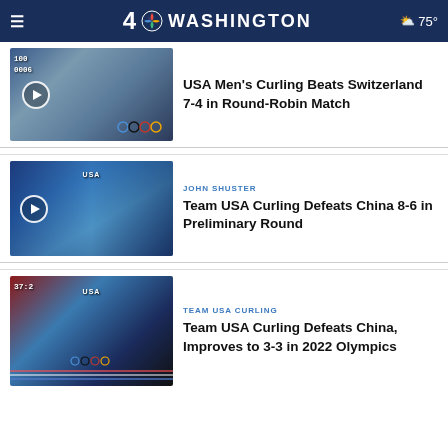4 NBC WASHINGTON  75°
[Figure (photo): Curling match photo with play button overlay]
USA Men's Curling Beats Switzerland 7-4 in Round-Robin Match
[Figure (photo): John Shuster curling photo with play button overlay]
JOHN SHUSTER
Team USA Curling Defeats China 8-6 in Preliminary Round
[Figure (photo): Team USA curling photo with score overlay]
TEAM USA CURLING
Team USA Curling Defeats China, Improves to 3-3 in 2022 Olympics